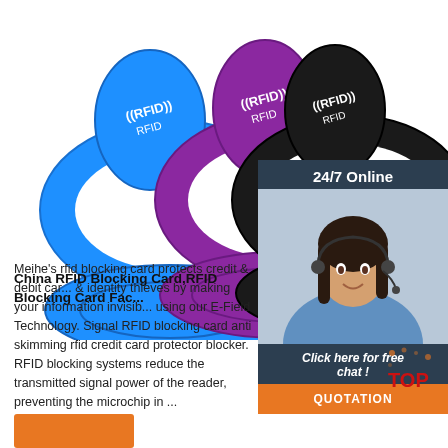[Figure (photo): Three RFID silicone wristbands in blue, purple, and black with RFID text and signal icons, displayed overlapping on a white background.]
[Figure (photo): Customer service agent (woman with headset) in a dark sidebar panel with '24/7 Online' label, 'Click here for free chat!' text, and an orange QUOTATION button.]
China RFID Blocking Card,RFID Blocking Card Fac...
Meihe's rfid blocking card protects credit & debit car... & identity thieves by making your information invisib... using our E-Field Technology. Signal RFID blocking card anti skimming rfid credit card protector blocker. RFID blocking systems reduce the transmitted signal power of the reader, preventing the microchip in ...
[Figure (logo): TOP badge/logo in red and orange with dots, bottom right corner.]
[Figure (other): Orange button at the bottom left of the page.]